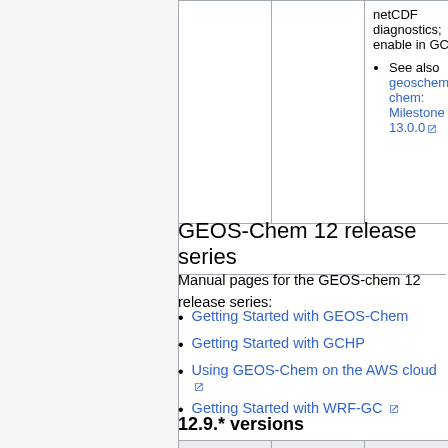|  |  |  |
| --- | --- | --- |
|  |  | netCDF diagnostics; enable in GCHP)
• See also geoschem/geos-chem: Milestone 13.0.0 |
GEOS-Chem 12 release series
Manual pages for the GEOS-chem 12 release series:
Getting Started with GEOS-Chem
Getting Started with GCHP
Using GEOS-Chem on the AWS cloud
Getting Started with WRF-GC
12.9.* versions
|  |  |  |
| --- | --- | --- |